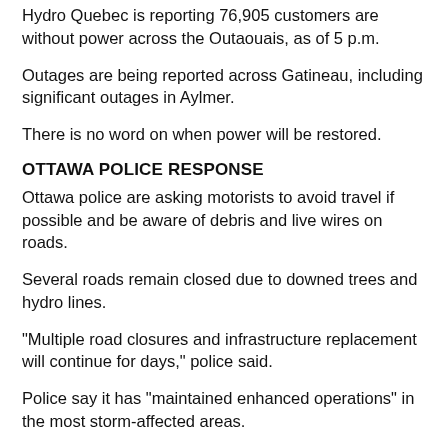Hydro Quebec is reporting 76,905 customers are without power across the Outaouais, as of 5 p.m.
Outages are being reported across Gatineau, including significant outages in Aylmer.
There is no word on when power will be restored.
OTTAWA POLICE RESPONSE
Ottawa police are asking motorists to avoid travel if possible and be aware of debris and live wires on roads.
Several roads remain closed due to downed trees and hydro lines.
"Multiple road closures and infrastructure replacement will continue for days," police said.
Police say it has "maintained enhanced operations" in the most storm-affected areas.